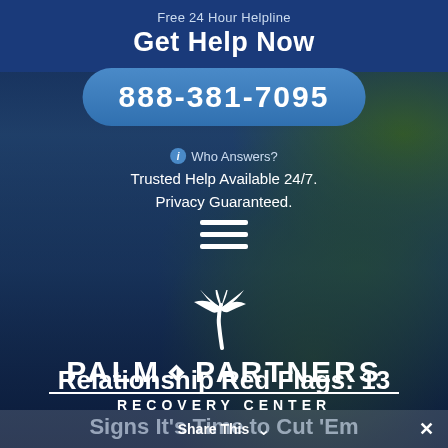Free 24 Hour Helpline
Get Help Now
888-381-7095
ℹ Who Answers?
Trusted Help Available 24/7. Privacy Guaranteed.
[Figure (logo): Palm Partners Recovery Center logo with stylized palm tree icon above the text PALM PARTNERS and RECOVERY CENTER]
Relationship Red Flags: 13
Signs It's Time to Cut 'Em
Share This